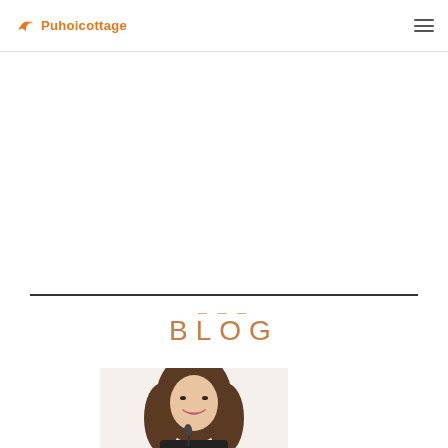Puhoicottage
[Figure (illustration): Blog thumbnail image showing a smiling woman with dark wavy hair, wearing a dark top, photographed from the shoulders up]
BLOG